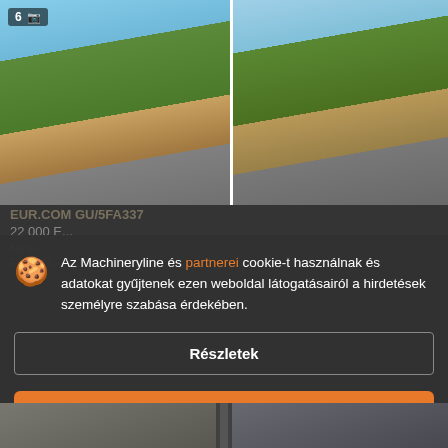[Figure (photo): Green mini excavator (left) and larger green excavator (right) photographed outdoors on gravel/dirt surface. Left image has a badge showing '6' and camera icon.]
Az Machineryline és partnerei cookie-t használnak és adatokat gyűjtenek ezen weboldal látogatásairól a hirdetések személyre szabása érdekében.
Részletek
Elfogadás és bezárás